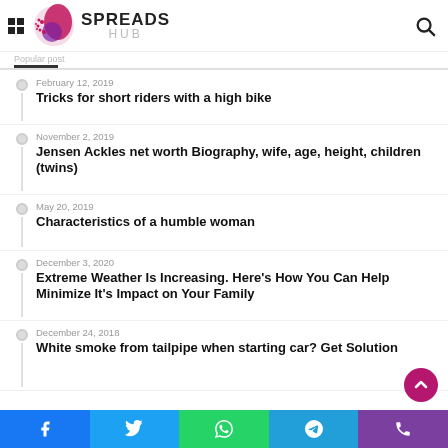SPREADS HUB
February 12, 2019 — Tricks for short riders with a high bike
November 2, 2019 — Jensen Ackles net worth Biography, wife, age, height, children (twins)
May 20, 2019 — Characteristics of a humble woman
December 3, 2020 — Extreme Weather Is Increasing. Here's How You Can Help Minimize It's Impact on Your Family
December 24, 2018 — White smoke from tailpipe when starting car? Get Solution
Facebook | Twitter | WhatsApp | Telegram | Phone